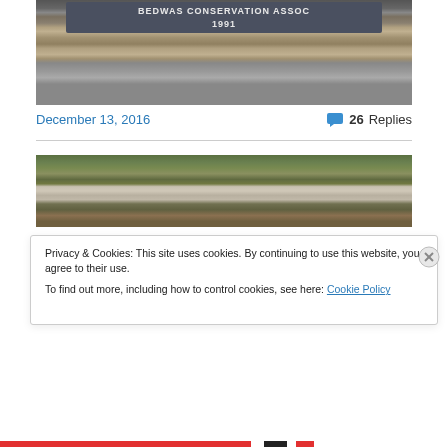[Figure (photo): Close-up photograph of a stone wall with a dark granite plaque reading 'BEDWAS CONSERVATION ASSOC 1991']
December 13, 2016
26 Replies
[Figure (photo): Panoramic aerial photograph of a valley town with green hills on both sides]
Privacy & Cookies: This site uses cookies. By continuing to use this website, you agree to their use.
To find out more, including how to control cookies, see here: Cookie Policy